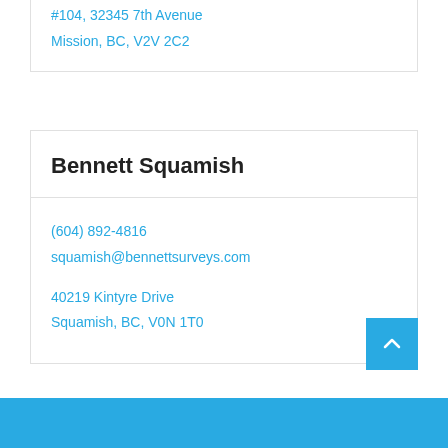#104, 32345 7th Avenue
Mission, BC, V2V 2C2
Bennett Squamish
(604) 892-4816
squamish@bennettsurveys.com
40219 Kintyre Drive
Squamish, BC, V0N 1T0